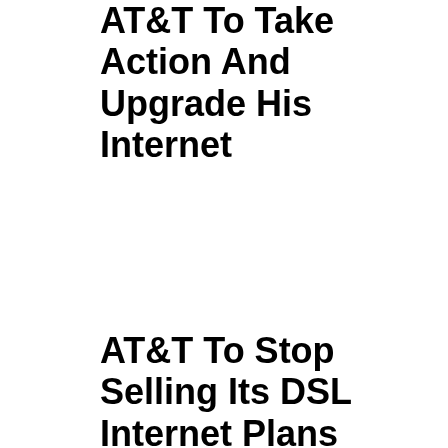AT&T To Take Action And Upgrade His Internet
AT&T To Stop Selling Its DSL Internet Plans